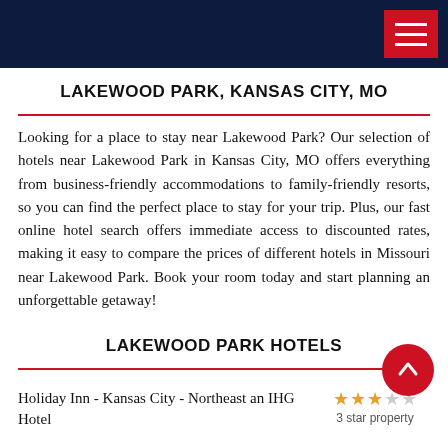LAKEWOOD PARK, KANSAS CITY, MO
Looking for a place to stay near Lakewood Park? Our selection of hotels near Lakewood Park in Kansas City, MO offers everything from business-friendly accommodations to family-friendly resorts, so you can find the perfect place to stay for your trip. Plus, our fast online hotel search offers immediate access to discounted rates, making it easy to compare the prices of different hotels in Missouri near Lakewood Park. Book your room today and start planning an unforgettable getaway!
LAKEWOOD PARK HOTELS
Holiday Inn - Kansas City - Northeast an IHG Hotel
3 star property